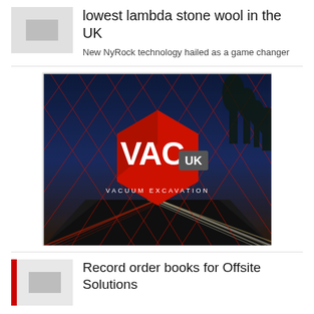lowest lambda stone wool in the UK
New NyRock technology hailed as a game changer
[Figure (logo): VAC UK Vacuum Excavation advertisement banner. Red hexagon logo with 'VAC' in white bold text and 'UK' in a dark grey badge. Below the logo reads 'VACUUM EXCAVATION'. Background shows a night-time motorway with light trails and a geometric red diamond grid pattern overlaid on a dark blue sky.]
Record order books for Offsite Solutions